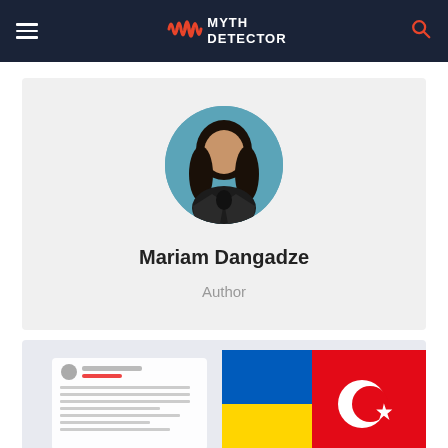Myth Detector
[Figure (photo): Circular profile photo of Mariam Dangadze, a young woman with long dark hair wearing a dark jacket, photographed against a teal/blue background.]
Mariam Dangadze
Author
[Figure (screenshot): Partially visible article card with a social media post screenshot on the left and Ukrainian and Turkish flags on the right.]